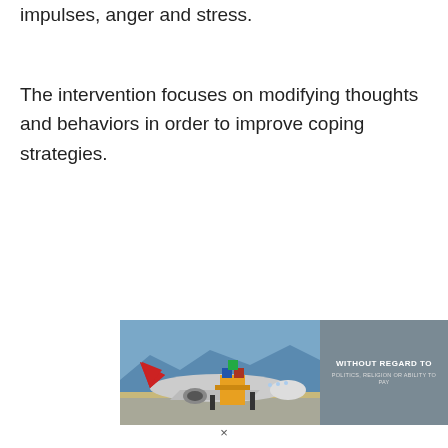impulses, anger and stress.
The intervention focuses on modifying thoughts and behaviors in order to improve coping strategies.
[Figure (photo): Advertisement banner showing a cargo airplane being loaded on a tarmac with the text 'WITHOUT REGARD TO POLITICS, RELIGION OR ABILITY TO PAY']
×